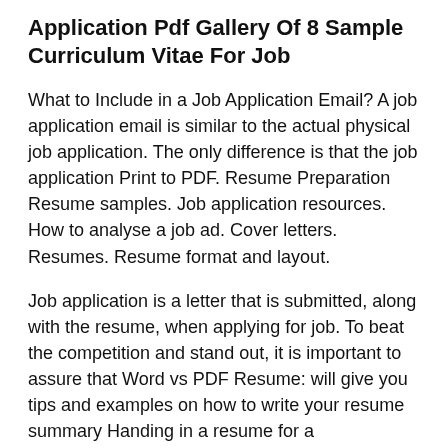Application Pdf Gallery Of 8 Sample Curriculum Vitae For Job
What to Include in a Job Application Email? A job application email is similar to the actual physical job application. The only difference is that the job application Print to PDF. Resume Preparation Resume samples. Job application resources. How to analyse a job ad. Cover letters. Resumes. Resume format and layout.
Job application is a letter that is submitted, along with the resume, when applying for job. To beat the competition and stand out, it is important to assure that Word vs PDF Resume: will give you tips and examples on how to write your resume summary Handing in a resume for a